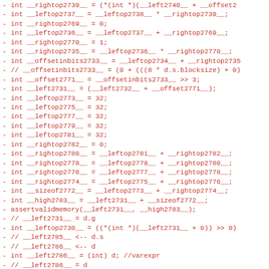-   int __rightop2739__ = (*(int *)(__left2740__ + __offset2
-   int __leftop2737__ = __leftop2738__ * __rightop2739__;
-   int __rightop2769__ = 0;
-   int __leftop2736__ = __leftop2737__ + __rightop2769__;
-   int __rightop2770__ = 1;
-   int __rightop2735__ = __leftop2736__ * __rightop2770__;
-   int __offsetinbits2733__ = __leftop2734__ + __rightop2735
-   // __offsetinbits2733__ = (0 + (((8 * d.s.blocksize) + 0)
-   int __offset2771__ = __offsetinbits2733__ >> 3;
-   int __left2731__ = (__left2732__ + __offset2771__);
-   int __leftop2773__ = 32;
-   int __leftop2775__ = 32;
-   int __leftop2777__ = 32;
-   int __leftop2779__ = 32;
-   int __leftop2781__ = 32;
-   int __rightop2782__ = 0;
-   int __rightop2780__ = __leftop2781__ + __rightop2782__;
-   int __rightop2778__ = __leftop2779__ + __rightop2780__;
-   int __rightop2776__ = __leftop2777__ + __rightop2778__;
-   int __rightop2774__ = __leftop2775__ + __rightop2776__;
-   int __sizeof2772__ = __leftop2773__ + __rightop2774__;
-   int __high2783__ = __left2731__ + __sizeof2772__;
-   assertvalidmemory(__left2731__, __high2783__);
-   // __left2731__ = d.g
-   int __leftop2730__ = ((*(int *)(__left2731__ + 0))  >> 0)
-   // __left2785__ <-- d.s
-   // __left2786__ <-- d
-   int __left2786__ = (int) d; //varexpr
-   // __left2786__ = d
-   int __left2785__ = (__left2786__ + 0);
-   int __leftop2788__ = 32;
-   int __leftop2790__ = 32;
-   int __left2798__ = 32;